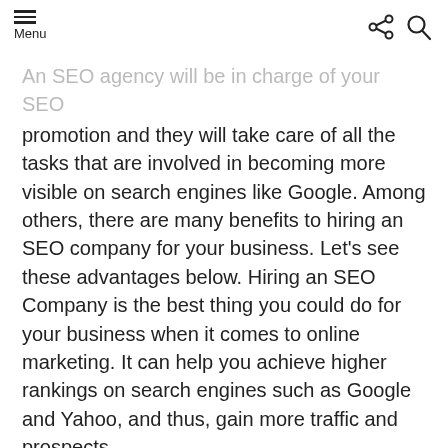Menu
An SEO agency will be in charge of your SEO promotion and they will take care of all the tasks that are involved in becoming more visible on search engines like Google. Among others, there are many benefits to hiring an SEO company for your business. Let's see these advantages below. Hiring an SEO Company is the best thing you could do for your business when it comes to online marketing. It can help you achieve higher rankings on search engines such as Google and Yahoo, and thus, gain more traffic and prospects.
Benefits in Detail
Before we talk about the benefits in detail, it is